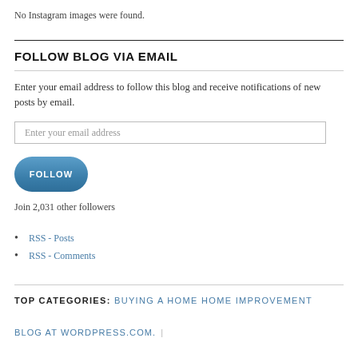No Instagram images were found.
FOLLOW BLOG VIA EMAIL
Enter your email address to follow this blog and receive notifications of new posts by email.
Enter your email address
FOLLOW
Join 2,031 other followers
RSS - Posts
RSS - Comments
TOP CATEGORIES: BUYING A HOME HOME IMPROVEMENT
BLOG AT WORDPRESS.COM.